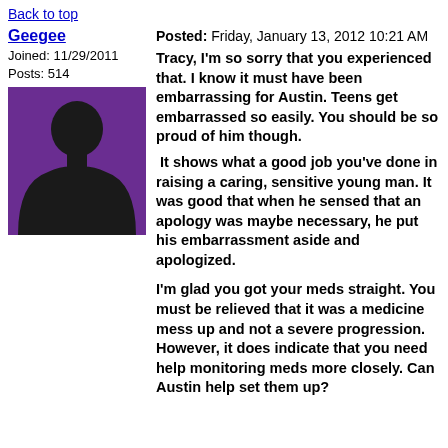Back to top
Geegee
Joined: 11/29/2011
Posts: 514
Posted: Friday, January 13, 2012 10:21 AM
[Figure (illustration): Purple avatar silhouette of a person on dark purple background]
Tracy, I'm so sorry that you experienced that.  I know it must have been embarrassing for Austin.  Teens get embarrassed so easily.  You should be so proud of him though.

 It shows what a good job you've done in raising a caring, sensitive young man.  It was good that when he sensed that an apology was maybe necessary, he put his embarrassment aside and apologized.

I'm glad you got your meds straight.  You must be relieved that it was a medicine mess up and not a severe progression.  However, it does indicate that you need help monitoring meds more closely.  Can Austin help set them up?